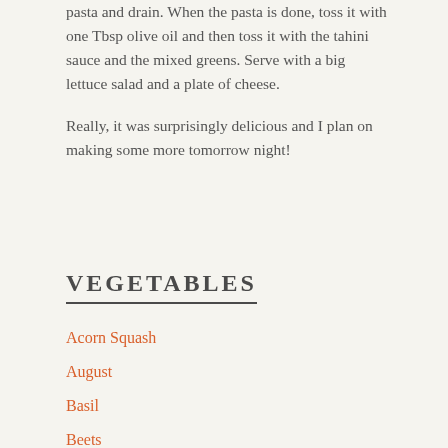pasta and drain. When the pasta is done, toss it with one Tbsp olive oil and then toss it with the tahini sauce and the mixed greens. Serve with a big lettuce salad and a plate of cheese.
Really, it was surprisingly delicious and I plan on making some more tomorrow night!
VEGETABLES
Acorn Squash
August
Basil
Beets